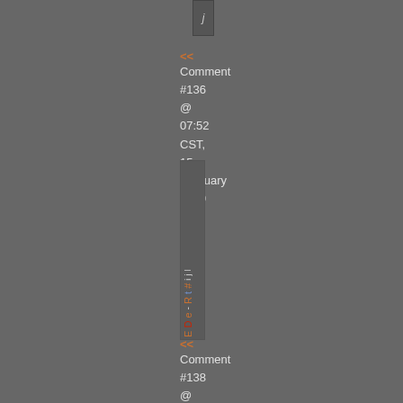[Figure (screenshot): Small icon or UI element at top center]
<< Comment #136 @ 07:52 CST, 15 February 2010 >>
[Figure (screenshot): Rotated vertical box with orange and white text characters, appears to be a UI widget or truncated content block]
<< Comment #138 @ 14:37 CST, 16 February 2010